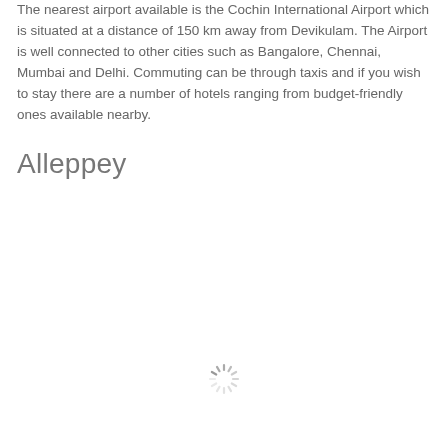The nearest airport available is the Cochin International Airport which is situated at a distance of 150 km away from Devikulam. The Airport is well connected to other cities such as Bangalore, Chennai, Mumbai and Delhi. Commuting can be through taxis and if you wish to stay there are a number of hotels ranging from budget-friendly ones available nearby.
Alleppey
[Figure (other): Loading spinner icon]